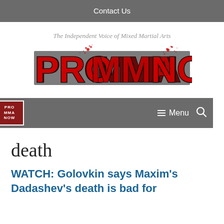Contact Us
The Independent Voice of Mixed Martial Arts
[Figure (logo): PRO MMA NOW logo in red and black bold stylized lettering with blood splatter effects]
PRO MMA NOW  ≡ Menu  🔍
death
WATCH: Golovkin says Maxim's Dadashev's death is bad for